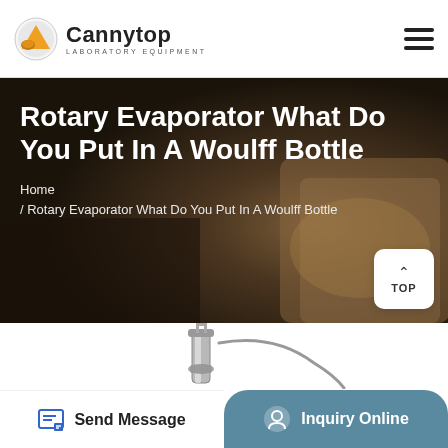Cannytop LABORATORY EQUIPMENT
Rotary Evaporator What Do You Put In A Woulff Bottle
Home / Rotary Evaporator What Do You Put In A Woulff Bottle
[Figure (photo): Laboratory equipment — rotary evaporator Woulff bottle assembly, metallic components on white background]
Send Message | Inquiry Online